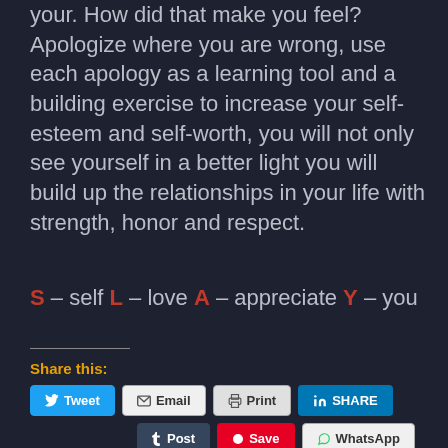your. How did that make you feel? Apologize where you are wrong, use each apology as a learning tool and a building exercise to increase your self-esteem and self-worth, you will not only see yourself in a better light you will build up the relationships in your life with strength, honor and respect.
S – self L – love A – appreciate Y – you
Share this:
Tweet  Email  Print  SHARE  Post  Save  WhatsApp  Share
2 bloggers like this.